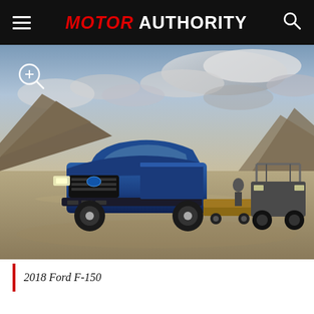MOTOR AUTHORITY
[Figure (photo): 2018 Ford F-150 blue pickup truck towing an ATV on a trailer in a desert landscape with dramatic cloudy sky. A side-by-side utility vehicle is visible on the right.]
2018 Ford F-150